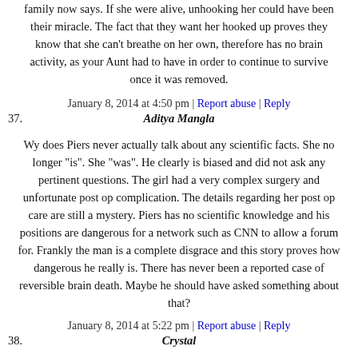family now says. If she were alive, unhooking her could have been their miracle. The fact that they want her hooked up proves they know that she can't breathe on her own, therefore has no brain activity, as your Aunt had to have in order to continue to survive once it was removed.
January 8, 2014 at 4:50 pm | Report abuse | Reply
37. Aditya Mangla
Wy does Piers never actually talk about any scientific facts. She no longer "is". She "was". He clearly is biased and did not ask any pertinent questions. The girl had a very complex surgery and unfortunate post op complication. The details regarding her post op care are still a mystery. Piers has no scientific knowledge and his positions are dangerous for a network such as CNN to allow a forum for. Frankly the man is a complete disgrace and this story proves how dangerous he really is. There has never been a reported case of reversible brain death. Maybe he should have asked something about that?
January 8, 2014 at 5:22 pm | Report abuse | Reply
38. Crystal
I am not a fanatic, but I pray this gets to her momma: M'am, I don't know what your relgious background is, but Jesus is